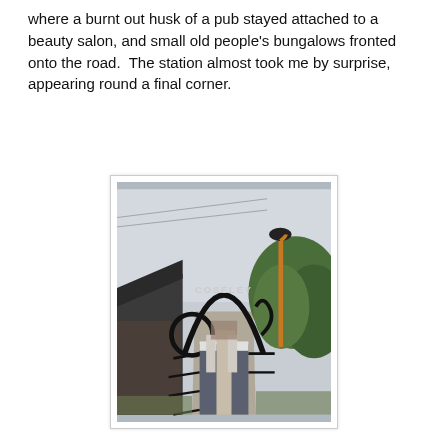where a burnt out husk of a pub stayed attached to a beauty salon, and small old people's bungalows fronted onto the road.  The station almost took me by surprise, appearing round a final corner.
[Figure (photo): Photograph of the entrance to Coseley station showing a decorative black iron arch with 'COSELEY' lettering across the top, two black and grey gate posts, a paved path leading into the station platform area, buildings on the left, green trees on the right, an orange street lamp, and an overcast sky.]